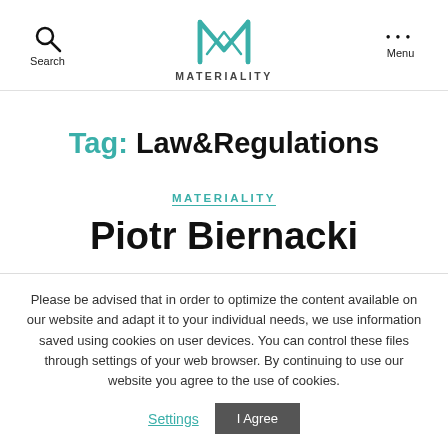Search | MATERIALITY | Menu
Tag: Law&Regulations
MATERIALITY
Piotr Biernacki
Please be advised that in order to optimize the content available on our website and adapt it to your individual needs, we use information saved using cookies on user devices. You can control these files through settings of your web browser. By continuing to use our website you agree to the use of cookies.
Settings | I Agree